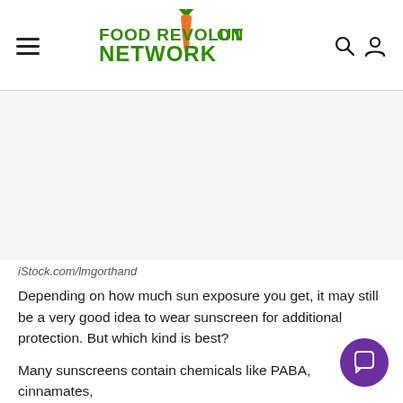Food Revolution Network
[Figure (photo): Image placeholder area (white/blank) representing a sunscreen-related photo]
iStock.com/lmgorthand
Depending on how much sun exposure you get, it may still be a very good idea to wear sunscreen for additional protection. But which kind is best?
Many sunscreens contain chemicals like PABA, cinnamates, and salicylates. They may react with the sun’s rays to cause...